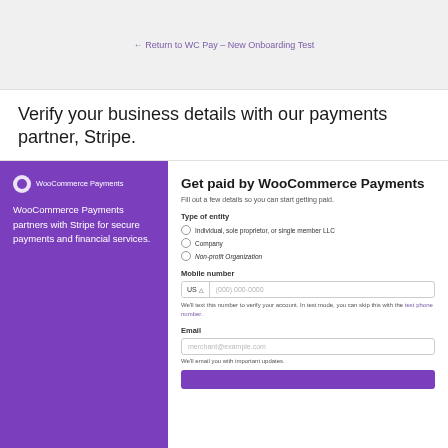← Return to WC Pay – New Onboarding Test
Verify your business details with our payments partner, Stripe.
[Figure (screenshot): WooCommerce Payments onboarding form with purple sidebar showing WooCommerce Payments logo and description, and a white form panel titled 'Get paid by WooCommerce Payments' with entity type selection, mobile number field, and email field.]